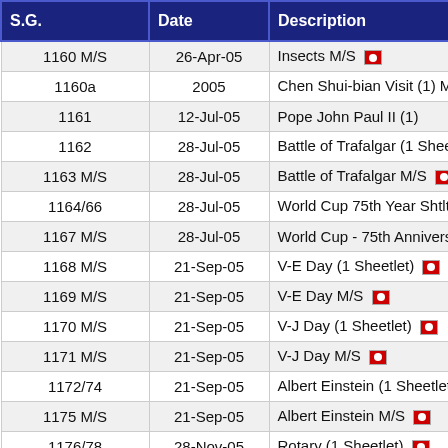| S.G. | Date | Description |
| --- | --- | --- |
| 1160 M/S | 26-Apr-05 | Insects M/S 🚩 |
| 1160a | 2005 | Chen Shui-bian Visit (1) M/S 🚩 |
| 1161 | 12-Jul-05 | Pope John Paul II (1) |
| 1162 | 28-Jul-05 | Battle of Trafalgar (1 Sheetlet) 🚩 |
| 1163 M/S | 28-Jul-05 | Battle of Trafalgar M/S 🚩 |
| 1164/66 | 28-Jul-05 | World Cup 75th Year Shtlt 🚩 |
| 1167 M/S | 28-Jul-05 | World Cup - 75th Anniversary M/S |
| 1168 M/S | 21-Sep-05 | V-E Day (1 Sheetlet) 🚩 |
| 1169 M/S | 21-Sep-05 | V-E Day M/S 🚩 |
| 1170 M/S | 21-Sep-05 | V-J Day (1 Sheetlet) 🚩 |
| 1171 M/S | 21-Sep-05 | V-J Day M/S 🚩 |
| 1172/74 | 21-Sep-05 | Albert Einstein (1 Sheetlet) 🚩 |
| 1175 M/S | 21-Sep-05 | Albert Einstein M/S 🚩 |
| 1176/78 | 28-Nov-05 | Rotary (1 Sheetlet) 🚩 |